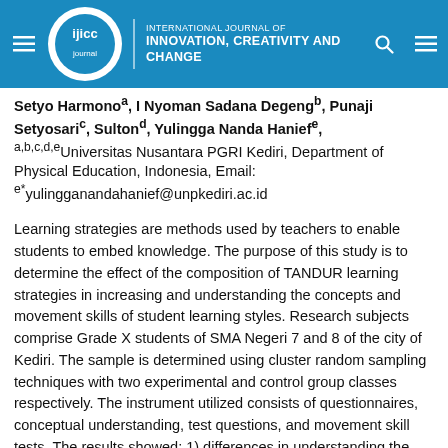INTERNATIONAL JOURNAL OF INNOVATION, CREATIVITY AND CHANGE
Setyo Harmono, I Nyoman Sadana Degeng, Punaji Setyosari, Sulton, Yulingga Nanda Hanief, a,b,c,d,eUniversitas Nusantara PGRI Kediri, Department of Physical Education, Indonesia, Email: e*yulingganandahanief@unpkediri.ac.id
Learning strategies are methods used by teachers to enable students to embed knowledge. The purpose of this study is to determine the effect of the composition of TANDUR learning strategies in increasing and understanding the concepts and movement skills of student learning styles. Research subjects comprise Grade X students of SMA Negeri 7 and 8 of the city of Kediri. The sample is determined using cluster random sampling techniques with two experimental and control group classes respectively. The instrument utilized consists of questionnaires, conceptual understanding, test questions, and movement skill tests. The results showed: 1) differences in understanding the skills between students using quantum and direct learning strategies 2) differences using visual, auditory, and